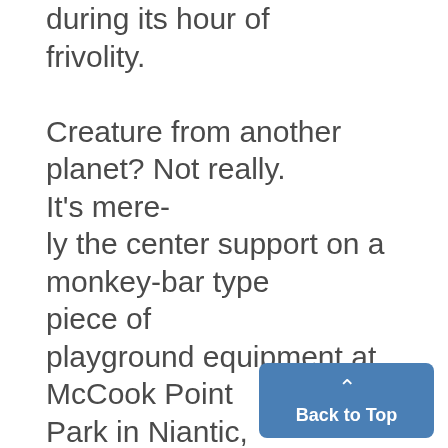during its hour of frivolity. Creature from another planet? Not really. It's mere- ly the center support on a monkey-bar type piece of playground equipment at McCook Point Park in Niantic, Conn., which took on an unearthly appearance yester- day following an overnight snowfall that blanketed the area.
Back to Top